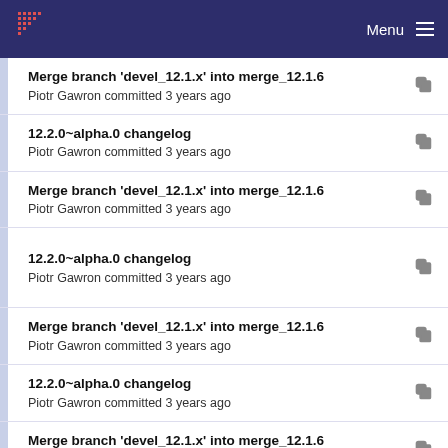Menu
Merge branch 'devel_12.1.x' into merge_12.1.6
Piotr Gawron committed 3 years ago
12.2.0~alpha.0 changelog
Piotr Gawron committed 3 years ago
Merge branch 'devel_12.1.x' into merge_12.1.6
Piotr Gawron committed 3 years ago
12.2.0~alpha.0 changelog
Piotr Gawron committed 3 years ago
Merge branch 'devel_12.1.x' into merge_12.1.6
Piotr Gawron committed 3 years ago
12.2.0~alpha.0 changelog
Piotr Gawron committed 3 years ago
Merge branch 'devel_12.1.x' into merge_12.1.6
Piotr Gawron committed 3 years ago